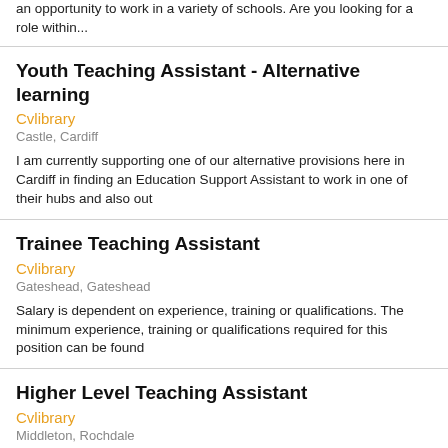an opportunity to work in a variety of schools. Are you looking for a role within...
Youth Teaching Assistant - Alternative learning
Cvlibrary
Castle, Cardiff
I am currently supporting one of our alternative provisions here in Cardiff in finding an Education Support Assistant to work in one of their hubs and also out
Trainee Teaching Assistant
Cvlibrary
Gateshead, Gateshead
Salary is dependent on experience, training or qualifications. The minimum experience, training or qualifications required for this position can be found
Higher Level Teaching Assistant
Cvlibrary
Middleton, Rochdale
Milk education milk education are working with schools within the Rochdale area who are seeking a hlta to cover all primary year groups, on a short to
Send graduate teaching assistant
Cvlibrary